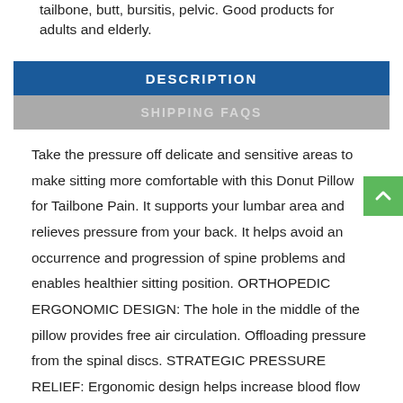tailbone, butt, bursitis, pelvic. Good products for adults and elderly.
DESCRIPTION
SHIPPING FAQS
Take the pressure off delicate and sensitive areas to make sitting more comfortable with this Donut Pillow for Tailbone Pain. It supports your lumbar area and relieves pressure from your back. It helps avoid an occurrence and progression of spine problems and enables healthier sitting position. ORTHOPEDIC ERGONOMIC DESIGN: The hole in the middle of the pillow provides free air circulation. Offloading pressure from the spinal discs. STRATEGIC PRESSURE RELIEF: Ergonomic design helps increase blood flow